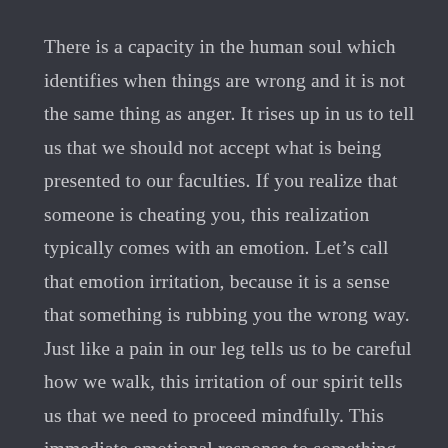There is a capacity in the human soul which identifies when things are wrong and it is not the same thing as anger. It rises up in us to tell us that we should not accept what is being presented to our faculties. If you realize that someone is cheating you, this realization typically comes with an emotion. Let's call that emotion irritation, because it is a sense that something is rubbing you the wrong way. Just like a pain in our leg tells us to be careful how we walk, this irritation of our spirit tells us that we need to proceed mindfully. This immediate emotional response to something which is not right does not last long and is essentially neutral in character, it isn't an angel or a demon. But it leads us into one or the other.